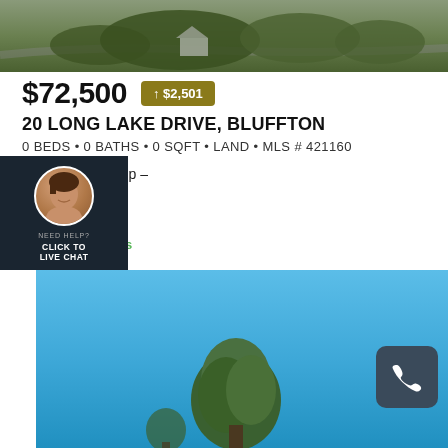[Figure (photo): Aerial view of a property with trees and road]
$72,500  ↑ $2,501
20 LONG LAKE DRIVE, BLUFFTON
0 BEDS • 0 BATHS • 0 SQFT • LAND • MLS # 421160
Lowcountry Group –
Engel & Volkers
[Figure (logo): LREsides logo]
[Figure (photo): Blue sky with trees on property land]
[Figure (infographic): NEED HELP? CLICK TO LIVE CHAT widget with agent avatar]